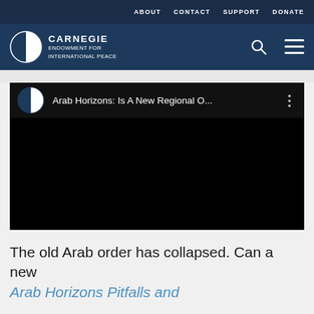ABOUT  CONTACT  SUPPORT  DONATE
[Figure (logo): Carnegie Endowment for International Peace logo with half-circle icon, search and menu icons on right]
[Figure (screenshot): Embedded YouTube video player showing 'Arab Horizons: Is A New Regional O...' with Carnegie logo icon, dark video frame]
The old Arab order has collapsed. Can a new Arab Horizons Pitfalls and